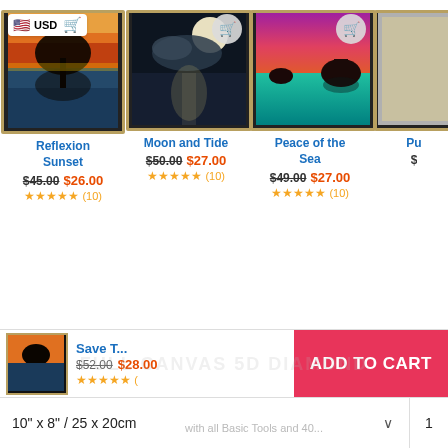[Figure (screenshot): E-commerce product listing showing four framed art prints in a horizontal scroll. First card shows 'Reflexion Sunset' with USD badge and cart button, sunset tree reflection image. Second card shows 'Moon and Tide' with cart button, moonlit ocean image. Third card shows 'Peace of the Sea' with cart button, colorful tropical sunset. Fourth card partially visible.]
Reflexion Sunset
$45.00 $26.00
★★★★★ (10)
Moon and Tide
$50.00 $27.00
★★★★★ (10)
Peace of the Sea
$49.00 $27.00
★★★★★ (10)
Save T... $52.00 $28.00 ★★★★★ (
ADD TO CART
10" x 8" / 25 x 20cm
1